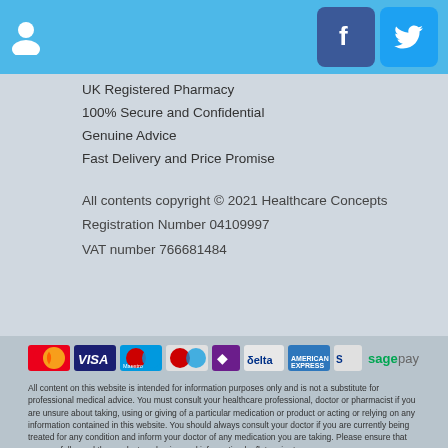User icon, Facebook and Twitter social buttons
UK Registered Pharmacy
100% Secure and Confidential
Genuine Advice
Fast Delivery and Price Promise
All contents copyright © 2021 Healthcare Concepts
Registration Number 04109997
VAT number 766681484
[Figure (logo): Payment method logos: Mastercard, Visa, Maestro Electron, Maestro, Diners Club, Delta, American Express, Solo, and Sage Pay]
All content on this website is intended for information purposes only and is not a substitute for professional medical advice. You must consult your healthcare professional, doctor or pharmacist if you are unsure about taking, using or giving of a particular medication or product or acting or relying on any information contained in this website. You should always consult your doctor if you are currently being treated for any condition and inform your doctor of any medication you are taking. Please ensure that you carefully read the product packaging and information leaflets prior to use.